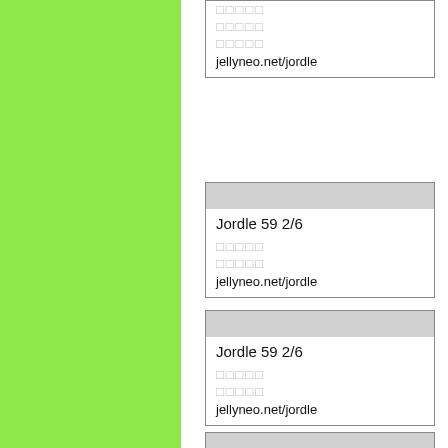[Figure (other): Green colored vertical panel on the left side of the page]
□□□□□
□□□□□
□□□□□
jellyneo.net/jordle
Jordle 59 2/6
□□□□□
□□□□□
jellyneo.net/jordle
Jordle 59 2/6
□□□□□
□□□□□
jellyneo.net/jordle
Jordle 59 2/6
□□□□□
□□□□□